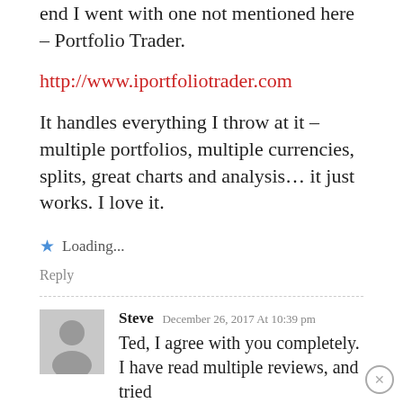end I went with one not mentioned here – Portfolio Trader.
http://www.iportfoliotrader.com
It handles everything I throw at it – multiple portfolios, multiple currencies, splits, great charts and analysis… it just works. I love it.
Loading...
Reply
Steve  December 26, 2017 At 10:39 pm
Ted, I agree with you completely. I have read multiple reviews, and tried almost every single one of those, in the end, the only one that has the simple basic functionality for a stock